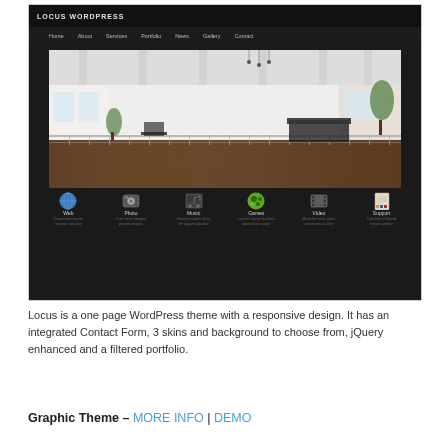[Figure (screenshot): Screenshot of Locus WordPress theme showing a dark header with 'LOCUS WORDPRESS' logo, navigation bar with Home/About/Services/Portfolio/News/Gallery/Contact links, a large hero image of a modern interior room with wooden floors and minimalist furniture, and an icon row below with Web/Photo/Music/Games/Video/Support categories each with colored icons and small lorem ipsum descriptions.]
Locus is a one page WordPress theme with a responsive design. It has an integrated Contact Form, 3 skins and background to choose from, jQuery enhanced and a filtered portfolio.
Graphic Theme – MORE INFO | DEMO